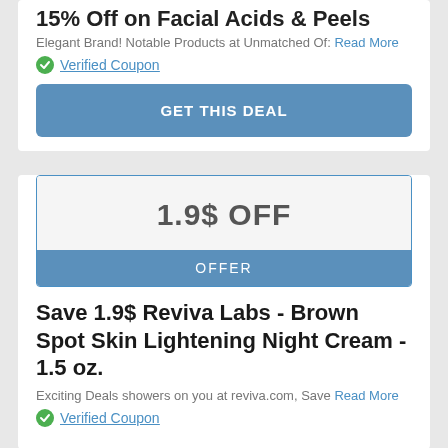Elegant Brand! Notable Products at Unmatched Of: Read More
Verified Coupon
GET THIS DEAL
1.9$ OFF
OFFER
Save 1.9$ Reviva Labs - Brown Spot Skin Lightening Night Cream - 1.5 oz.
Exciting Deals showers on you at reviva.com, Save Read More
Verified Coupon